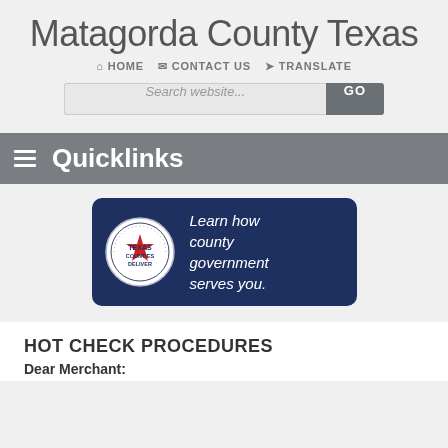Matagorda County Texas
HOME  CONTACT US  TRANSLATE
Search website...  GO
Quicklinks
[Figure (infographic): Texas Counties Deliver badge logo with text 'Learn how county government serves you.' on a dark navy blue background]
HOT CHECK PROCEDURES
Dear Merchant: